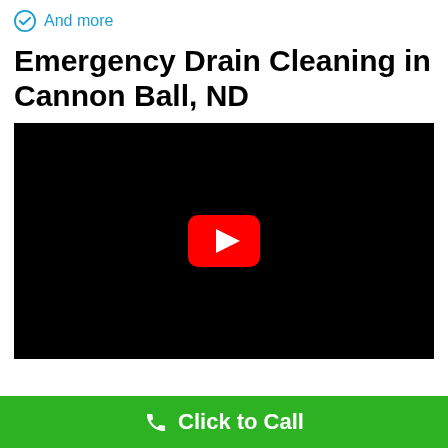And more
Emergency Drain Cleaning in Cannon Ball, ND
[Figure (screenshot): Embedded YouTube video player showing a black screen with a red YouTube play button in the center]
Click to Call